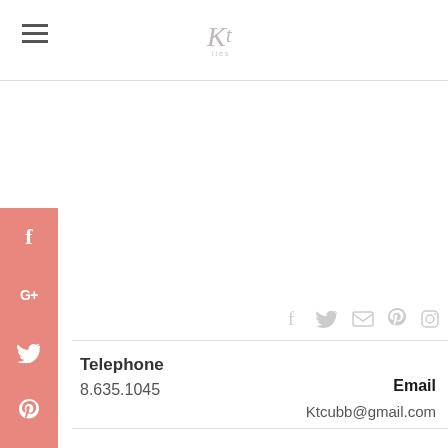Kt
[Figure (logo): Kt logo in cursive/italic style with small text below]
[Figure (infographic): Social media sidebar buttons: Facebook (f), Google+ (G+), Twitter bird, Pinterest (P), Blogger (B), LinkedIn (in) — all in salmon/rose pink color]
[Figure (infographic): Social icons row: Facebook, Twitter, Email, Pinterest, Instagram — in light gray]
Telephone
8.635.1045
Email
Ktcubb@gmail.com